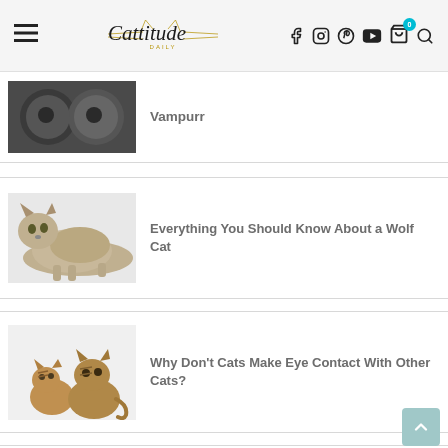Cattitude Daily
[Figure (photo): Two dark cats close together - Vampurr article thumbnail]
Vampurr
[Figure (photo): A Lykoi wolf cat lying down - Everything You Should Know About a Wolf Cat thumbnail]
Everything You Should Know About a Wolf Cat
[Figure (photo): Two tabby cats side by side - Why Don't Cats Make Eye Contact With Other Cats? thumbnail]
Why Don't Cats Make Eye Contact With Other Cats?
[Figure (photo): Cat near orange/yellow area - 19 Surprising Smells Your Cat Can't Stand thumbnail]
19 Surprising Smells Your Cat Can't Stand